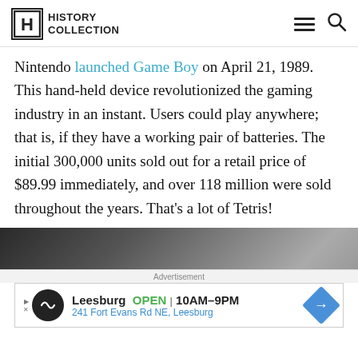History Collection
Nintendo launched Game Boy on April 21, 1989. This hand-held device revolutionized the gaming industry in an instant. Users could play anywhere; that is, if they have a working pair of batteries. The initial 300,000 units sold out for a retail price of $89.99 immediately, and over 118 million were sold throughout the years. That's a lot of Tetris!
[Figure (photo): Partial photo strip at bottom of article, dark toned image partially visible]
Advertisement
Leesburg OPEN 10AM–9PM 241 Fort Evans Rd NE, Leesburg